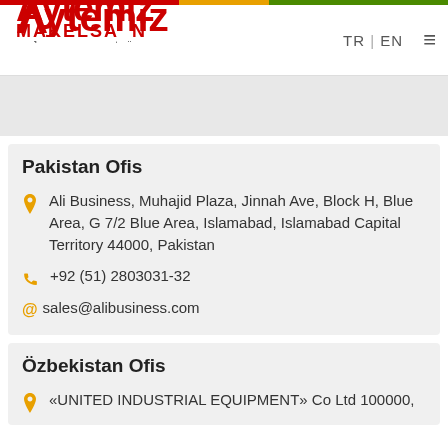[Figure (logo): Aytemiz Makelsan Jeneratör logo with red text and 'Jeneratör' subtitle]
TR | EN  ☰
Pakistan Ofis
Ali Business, Muhajid Plaza, Jinnah Ave, Block H, Blue Area, G 7/2 Blue Area, Islamabad, Islamabad Capital Territory 44000, Pakistan
+92 (51) 2803031-32
sales@alibusiness.com
Özbekistan Ofis
«UNITED INDUSTRIAL EQUIPMENT» Co Ltd 100000,